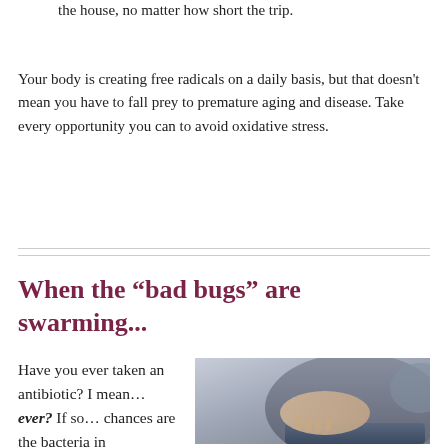the house, no matter how short the trip.
Your body is creating free radicals on a daily basis, but that doesn't mean you have to fall prey to premature aging and disease. Take every opportunity you can to avoid oxidative stress.
When the “bad bugs” are swarming...
Have you ever taken an antibiotic? I mean... ever? If so... chances are the bacteria in
[Figure (photo): Person holding their stomach/abdomen area, wearing a grey t-shirt and jeans, suggesting stomach pain or discomfort]